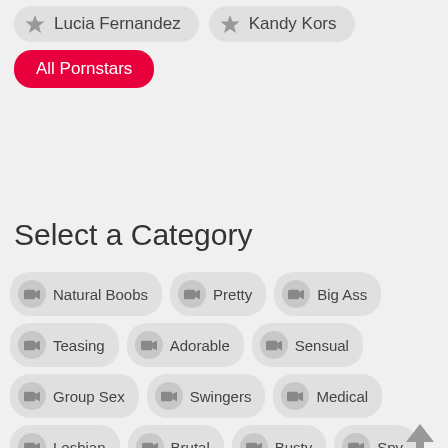Lucia Fernandez
Kandy Kors
All Pornstars
Select a Category
Natural Boobs
Pretty
Big Ass
Teasing
Adorable
Sensual
Group Sex
Swingers
Medical
Lesbian
Brutal
Busty
Spy
Casting
Skinny
Orgy
Reality